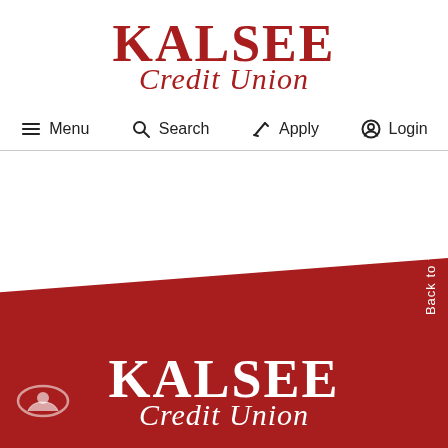[Figure (logo): KALSEE Credit Union logo in dark red, top of page header]
Menu  Search  Apply  Login
[Figure (logo): KALSEE Credit Union logo in white on red background, footer area]
Back to top